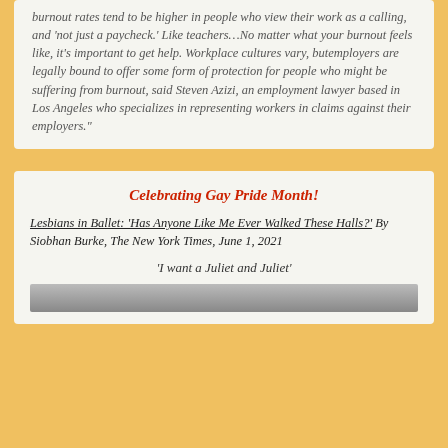burnout rates tend to be higher in people who view their work as a calling, and 'not just a paycheck.' Like teachers…No matter what your burnout feels like, it's important to get help. Workplace cultures vary, butemployers are legally bound to offer some form of protection for people who might be suffering from burnout, said Steven Azizi, an employment lawyer based in Los Angeles who specializes in representing workers in claims against their employers."
Celebrating Gay Pride Month!
Lesbians in Ballet: 'Has Anyone Like Me Ever Walked These Halls?' By Siobhan Burke, The New York Times, June 1, 2021
'I want a Juliet and Juliet'
[Figure (photo): Bottom edge of a photo partially visible at the bottom of the card]